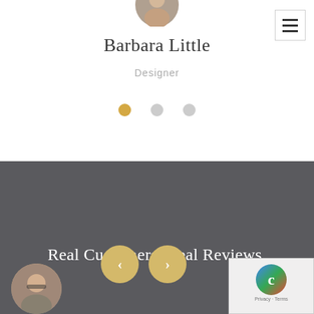[Figure (photo): Circular avatar photo at top, partially cropped]
Barbara Little
Designer
[Figure (other): Three dots carousel indicator: one gold active dot and two grey inactive dots]
[Figure (other): Dark grey section background]
Real Customers. Real Reviews.
[Figure (other): Navigation previous and next buttons (gold circles with arrow icons)]
[Figure (photo): Circular avatar photo at bottom left]
[Figure (other): reCAPTCHA privacy badge at bottom right]